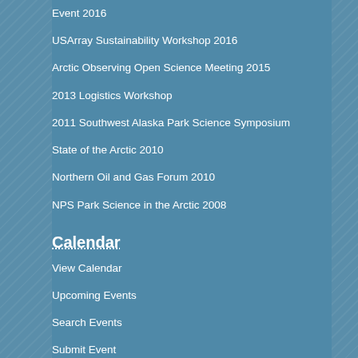Event 2016
USArray Sustainability Workshop 2016
Arctic Observing Open Science Meeting 2015
2013 Logistics Workshop
2011 Southwest Alaska Park Science Symposium
State of the Arctic 2010
Northern Oil and Gas Forum 2010
NPS Park Science in the Arctic 2008
Calendar
View Calendar
Upcoming Events
Search Events
Submit Event
Past Events